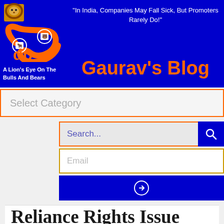[Figure (logo): Gaurav's Blog logo with lion image and orange circular infinity-like symbol with bull and bear icons]
"In India, Companies May Fall Sick, But Promoters Rarely Do!"
Gaurav's Blog
A Lion's Eye On The Bulls And Bears
Select Category
Search...
Email
Reliance Rights Issue